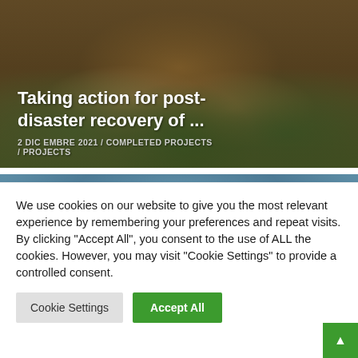[Figure (photo): Card image showing indigenous people in traditional grass skirts and green tops with overlaid title text. Background is dark warm tones.]
Taking action for post-disaster recovery of ...
2 DICEMBRE 2021 / COMPLETED PROJECTS / PROJECTS
[Figure (photo): Card image showing a historic building in Mosul with blue sky background, partially cut off.]
Mosul Mosaic: Restoration of the Al
We use cookies on our website to give you the most relevant experience by remembering your preferences and repeat visits. By clicking "Accept All", you consent to the use of ALL the cookies. However, you may visit "Cookie Settings" to provide a controlled consent.